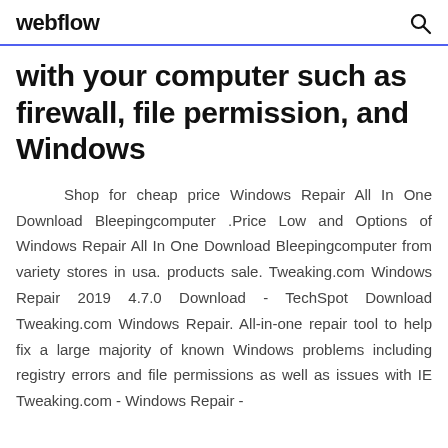webflow
with your computer such as firewall, file permission, and Windows
Shop for cheap price Windows Repair All In One Download Bleepingcomputer .Price Low and Options of Windows Repair All In One Download Bleepingcomputer from variety stores in usa. products sale. Tweaking.com Windows Repair 2019 4.7.0 Download - TechSpot Download Tweaking.com Windows Repair. All-in-one repair tool to help fix a large majority of known Windows problems including registry errors and file permissions as well as issues with IE Tweaking.com - Windows Repair -